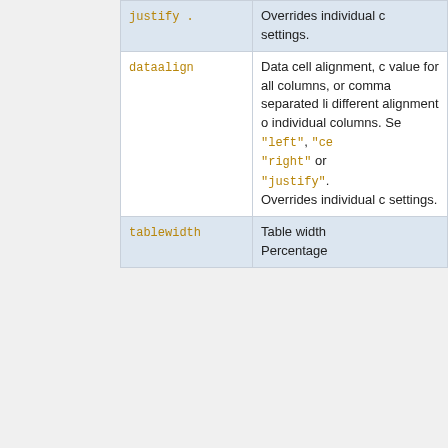| Parameter | Description |
| --- | --- |
| justify ... | Overrides individual c... settings. |
| dataalign | Data cell alignment, c... value for all columns, or comma separated li... different alignment o... individual columns. Se... "left", "ce... "right" or "justify". Overrides individual c... settings. |
| tablewidth | Table width... Percentage... |